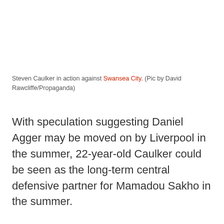Steven Caulker in action against Swansea City. (Pic by David Rawcliffe/Propaganda)
With speculation suggesting Daniel Agger may be moved on by Liverpool in the summer, 22-year-old Caulker could be seen as the long-term central defensive partner for Mamadou Sakho in the summer.